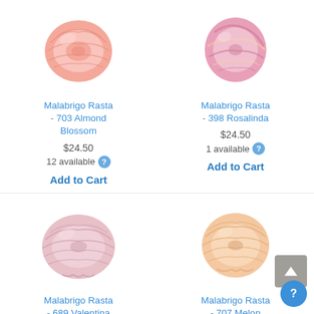[Figure (photo): Skein of light pink/salmon yarn - Malabrigo Rasta 703 Almond Blossom]
[Figure (photo): Skein of variegated pink yarn - Malabrigo Rasta 398 Rosalinda]
Malabrigo Rasta - 703 Almond Blossom
Malabrigo Rasta - 398 Rosalinda
$24.50
$24.50
12 available
1 available
Add to Cart
Add to Cart
[Figure (photo): Skein of dusty rose/mauve yarn - Malabrigo Rasta 689 Valentina]
[Figure (photo): Skein of peach/light orange yarn - Malabrigo Rasta 707 Melon]
Malabrigo Rasta - 689 Valentina
Malabrigo Rasta - 707 Melon
$24.50
$24.50
91 available
7 available